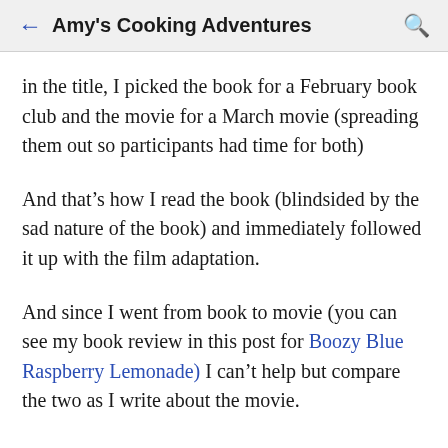Amy's Cooking Adventures
in the title, I picked the book for a February book club and the movie for a March movie (spreading them out so participants had time for both)
And that’s how I read the book (blindsided by the sad nature of the book) and immediately followed it up with the film adaptation.
And since I went from book to movie (you can see my book review in this post for Boozy Blue Raspberry Lemonade) I can’t help but compare the two as I write about the movie.